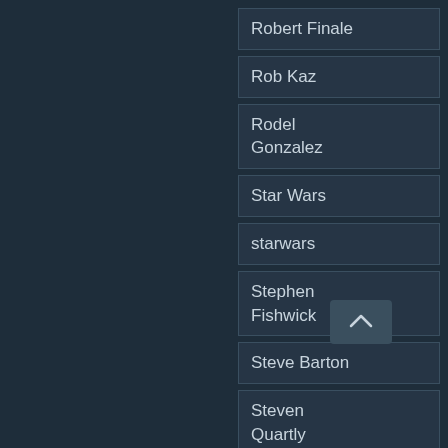Robert Finale
Rob Kaz
Rodel Gonzalez
Star Wars
starwars
Stephen Fishwick
Steve Barton
Steven Quartly
Steve Quartly
Thomas Kinkade